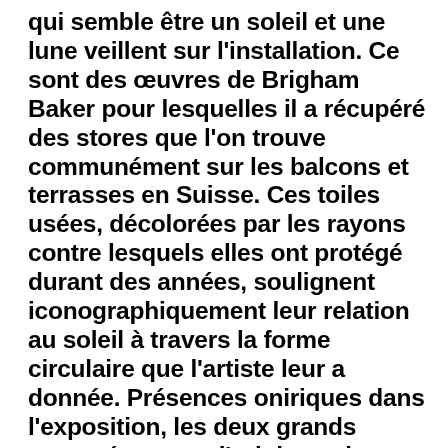qui semble être un soleil et une lune veillent sur l'installation. Ce sont des œuvres de Brigham Baker pour lesquelles il a récupéré des stores que l'on trouve communément sur les balcons et terrasses en Suisse. Ces toiles usées, décolorées par les rayons contre lesquels elles ont protégé durant des années, soulignent iconographiquement leur relation au soleil à travers la forme circulaire que l'artiste leur a donnée. Présences oniriques dans l'exposition, les deux grands astres évoquent l'origine et la condition de toute vie sur terre et rappellent surtout la relation systémique qui unit tous les êtres vivants entre eux.